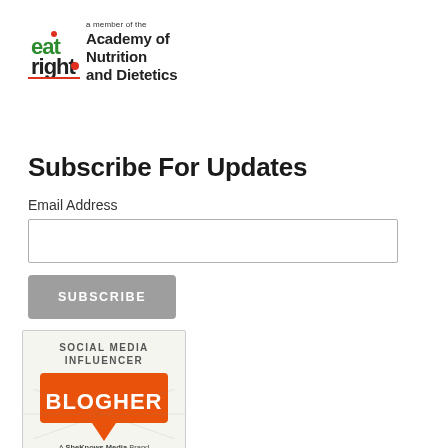[Figure (logo): EatRight logo with 'a member of the Academy of Nutrition and Dietetics' text]
Subscribe For Updates
Email Address
[Figure (logo): Social Media Influencer BlogHer badge - A SheKnows Media Brand]